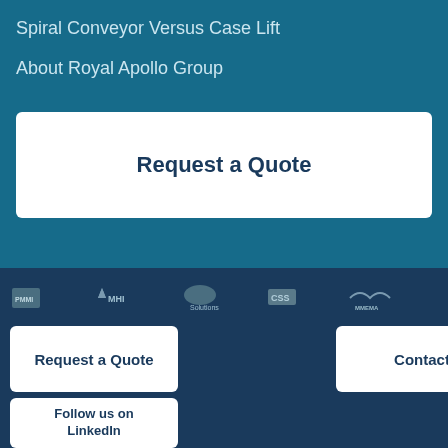Spiral Conveyor Versus Case Lift
About Royal Apollo Group
Request a Quote
[Figure (logo): Row of partner/association logos: PMMI, MHI, Solutions, CSS, MMEMA]
Request a Quote
Contact
Follow us on LinkedIn